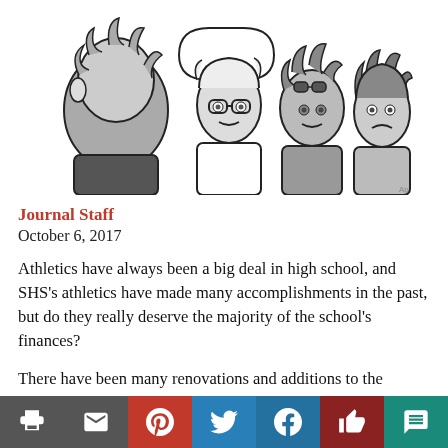[Figure (illustration): Black and white cartoon drawing of four characters: a person with curly hair seen from behind, a person with glasses and short hair speaking, a person with curly dark hair and goggles, and a person with wavy dark hair looking concerned.]
Journal Staff
October 6, 2017
Athletics have always been a big deal in high school, and SHS's athletics have made many accomplishments in the past, but do they really deserve the majority of the school's finances?
There have been many renovations and additions to the athletic department just in the past couple of years such as the upgrade of the weight room, field house, football stadium and the addition of the Ruben (a practice facility). These are all useful things, but are they more important than
Print | Email | Pinterest | Twitter | Facebook | Like | Comment